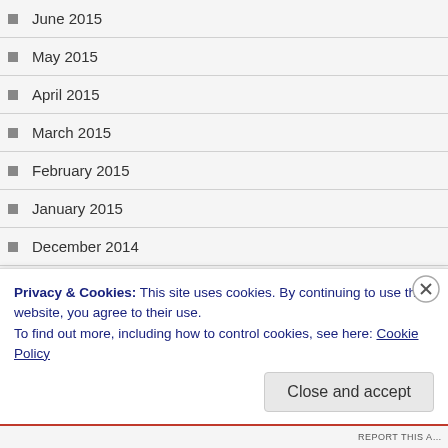June 2015
May 2015
April 2015
March 2015
February 2015
January 2015
December 2014
November 2014
October 2014
September 2014
August 2014
Privacy & Cookies: This site uses cookies. By continuing to use this website, you agree to their use. To find out more, including how to control cookies, see here: Cookie Policy
Close and accept